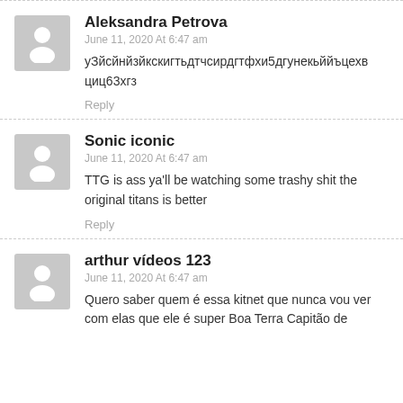[Figure (illustration): Grey avatar placeholder icon for user Aleksandra Petrova]
Aleksandra Petrova
June 11, 2020 At 6:47 am
уЗйсйнйзйкскигтьдтчсирдгтфхи5дгунекьййъцехвциц63хгз
Reply
[Figure (illustration): Grey avatar placeholder icon for user Sonic iconic]
Sonic iconic
June 11, 2020 At 6:47 am
TTG is ass ya'll be watching some trashy shit the original titans is better
Reply
[Figure (illustration): Grey avatar placeholder icon for user arthur vídeos 123]
arthur vídeos 123
June 11, 2020 At 6:47 am
Quero saber quem é essa kitnet que nunca vou ver com elas que ele é super Boa Terra Capitão de